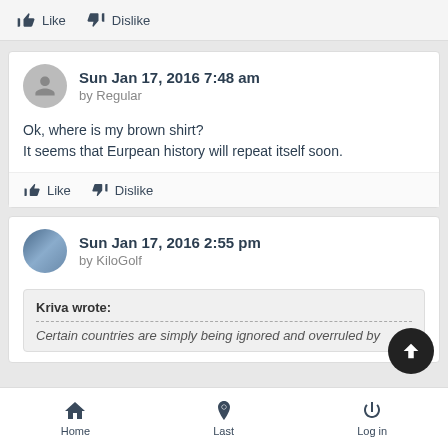Like  Dislike
Sun Jan 17, 2016 7:48 am
by Regular
Ok, where is my brown shirt?
It seems that Eurpean history will repeat itself soon.
Like  Dislike
Sun Jan 17, 2016 2:55 pm
by KiloGolf
Kriva wrote:
Certain countries are simply being ignored and overruled by
Home  Last  Log in